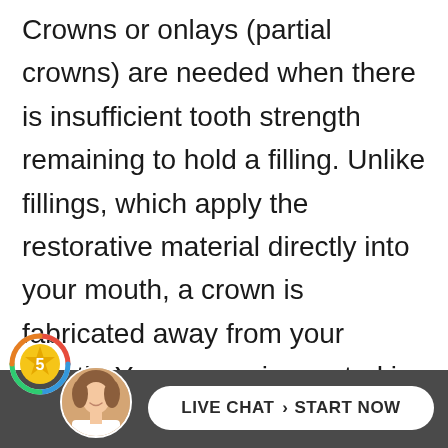Crowns or onlays (partial crowns) are needed when there is insufficient tooth strength remaining to hold a filling. Unlike fillings, which apply the restorative material directly into your mouth, a crown is fabricated away from your mouth. Your crown is created in a lab from your unique tooth impression, which allows a dental laboratory technician to examine all aspects of your bite and jaw movements. Y own is then sculpted just for you so
[Figure (other): Live chat widget footer bar with star rating badge (5 stars), female avatar photo, and a white rounded button reading LIVE CHAT > START NOW on dark grey background]